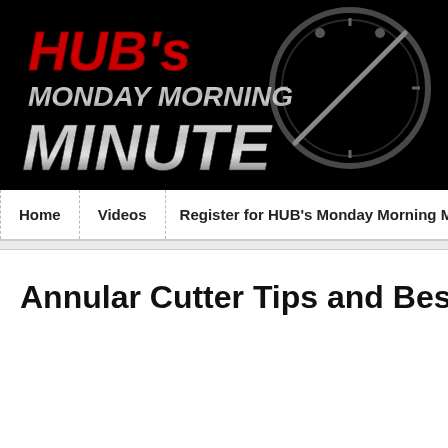[Figure (logo): HUB's Monday Morning Minute logo on black background with clock/speedometer graphic. 'HUB's' in red italic text, 'MONDAY MORNING' in silver metallic italic text, 'MINUTE' in large silver metallic italic text.]
Home | Videos | Register for HUB's Monday Morning Minute | Contact
Annular Cutter Tips and Best Pract